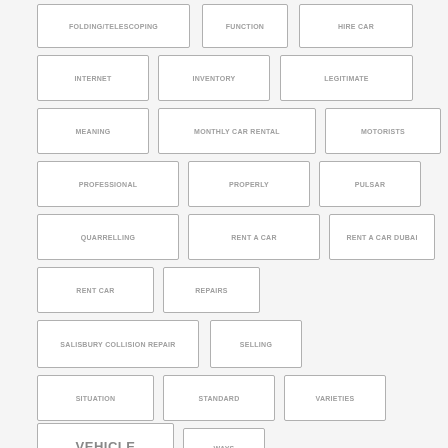FOLDING/TELESCOPING
FUNCTION
HIRE CAR
INTERNET
INVENTORY
LEGITIMATE
MEANING
MONTHLY CAR RENTAL
MOTORISTS
PROFESSIONAL
PROPERLY
PULSAR
QUARRELLING
RENT A CAR
RENT A CAR DUBAI
RENT CAR
REPAIRS
SALISBURY COLLISION REPAIR
SELLING
SITUATION
STANDARD
VARIETIES
VEHICLE
WAYS